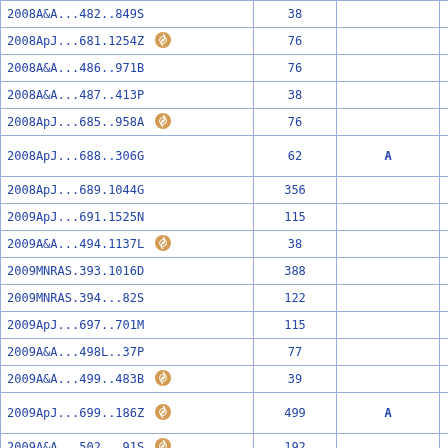| Reference | Value | Col3 | Col4 |
| --- | --- | --- | --- |
| 2008A&A...482..849S | 38 |  |  |
| 2008ApJ...681.1254Z [icon] | 76 |  |  |
| 2008A&A...486..971B | 76 |  |  |
| 2008A&A...487..413P | 38 |  |  |
| 2008ApJ...685..958A [icon] | 76 |  |  |
| 2008ApJ...688..306G | 62 | A |  |
| 2008ApJ...689.1044G | 356 |  |  |
| 2009ApJ...691.1525N | 115 |  |  |
| 2009A&A...494.1137L [icon] | 38 |  |  |
| 2009MNRAS.393.1016D | 388 |  |  |
| 2009MNRAS.394...82S | 122 |  |  |
| 2009ApJ...697..701M | 115 |  |  |
| 2009A&A...498L..37P | 77 |  |  |
| 2009A&A...499..483B [icon] | 39 |  |  |
| 2009ApJ...699..186Z [icon] | 499 | A | D |
| 2009A&A...502...91S [icon] | 192 |  |  |
| 2009ApJ...703.1323D [icon] | 115 |  |  |